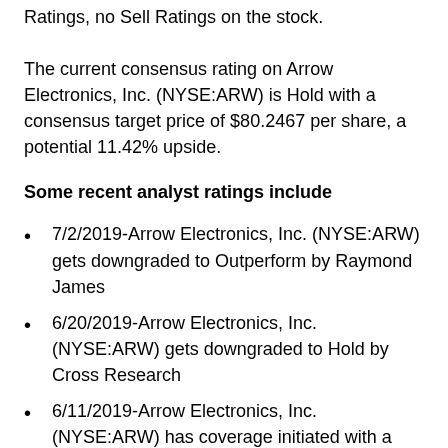Ratings, no Sell Ratings on the stock.
The current consensus rating on Arrow Electronics, Inc. (NYSE:ARW) is Hold with a consensus target price of $80.2467 per share, a potential 11.42% upside.
Some recent analyst ratings include
7/2/2019-Arrow Electronics, Inc. (NYSE:ARW) gets downgraded to Outperform by Raymond James
6/20/2019-Arrow Electronics, Inc. (NYSE:ARW) gets downgraded to Hold by Cross Research
6/11/2019-Arrow Electronics, Inc. (NYSE:ARW) has coverage initiated with a Buy → Buy rating and $83.00 price target
5/6/2019-Arrow Electronics, Inc. (NYSE:ARW) gets downgraded to Neutral by Bank of America with a price target of $76.15